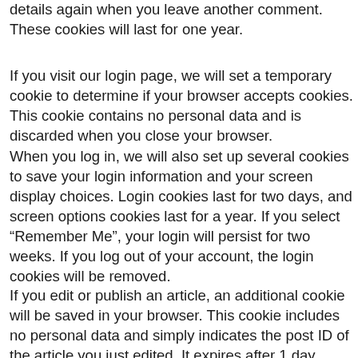details again when you leave another comment. These cookies will last for one year.
If you visit our login page, we will set a temporary cookie to determine if your browser accepts cookies. This cookie contains no personal data and is discarded when you close your browser.
When you log in, we will also set up several cookies to save your login information and your screen display choices. Login cookies last for two days, and screen options cookies last for a year. If you select “Remember Me”, your login will persist for two weeks. If you log out of your account, the login cookies will be removed.
If you edit or publish an article, an additional cookie will be saved in your browser. This cookie includes no personal data and simply indicates the post ID of the article you just edited. It expires after 1 day.